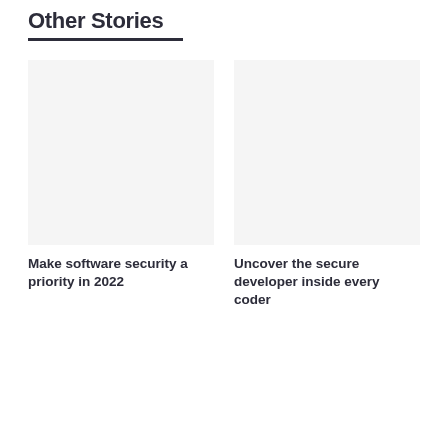Other Stories
Make software security a priority in 2022
Uncover the secure developer inside every coder